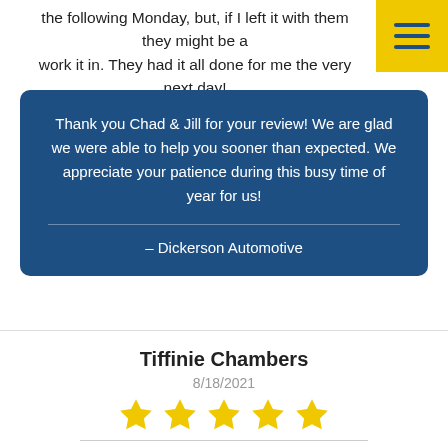the following Monday, but, if I left it with them they might be able to work it in. They had it all done for me the very next day!
Thank you Chad & Jill for your review! We are glad we were able to help you sooner than expected. We appreciate your patience during this busy time of year for us!
– Dickerson Automotive
Tiffinie Chambers
8/18/2021
[Figure (other): Five yellow star rating]
I have been trusting you with my 2 cars for the past few years and I will never go with anyone else
Tiffinie, that means so much to us! Thank you for your trust!